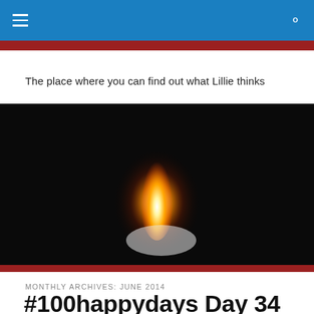≡  🔍
The place where you can find out what Lillie thinks
[Figure (photo): A flame burning in the dark, shot from close up against a black background with a red stripe at the bottom.]
MONTHLY ARCHIVES: JUNE 2014
#100happydays Day 34